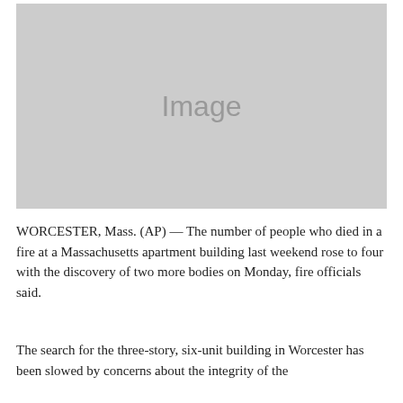[Figure (photo): Placeholder image block with gray background and 'Image' label text]
WORCESTER, Mass. (AP) — The number of people who died in a fire at a Massachusetts apartment building last weekend rose to four with the discovery of two more bodies on Monday, fire officials said.
The search for the three-story, six-unit building in Worcester has been slowed by concerns about the integrity of the